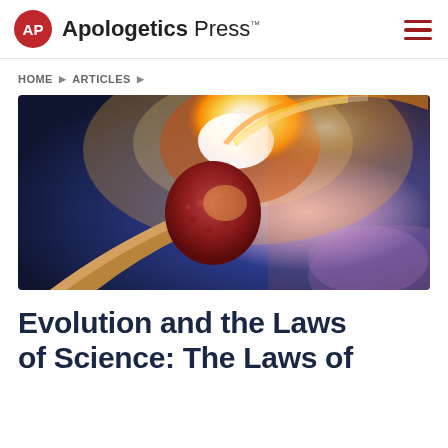Apologetics Press™
HOME ▶ ARTICLES ▶
[Figure (photo): Close-up macro photograph of a match head igniting, with a bright orange-white flame and glowing fire against a dark blue bokeh background]
Evolution and the Laws of Science: The Laws of